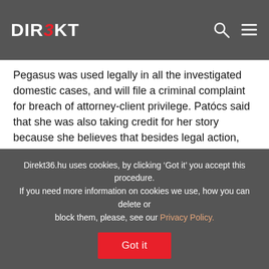DIREKT36
Pegasus was used legally in all the investigated domestic cases, and will file a criminal complaint for breach of attorney-client privilege. Patócs said that she was also taking credit for her story because she believes that besides legal action, the important thing is publicity. “We must not let this case go off” she said.
TASZ’s professional director, Máté Szabó, said that they consider it fortunate that Ilona Patócs joins their clients who have initiated proceedings for surveillance, because her case is a good one to prove that the Hungarian rules on secret surveillance also violate the requirement of confidentiality of attorney-client communication.
Direkt36.hu uses cookies, by clicking ‘Got it’ you accept this procedure. If you need more information on cookies we use, how you can delete or block them, please, see our Privacy Policy.